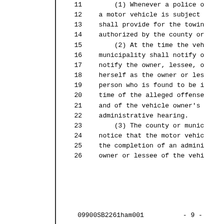11    (1) Whenever a police o
12    a motor vehicle is subject
13    shall provide for the towin
14    authorized by the county or
15    (2) At the time the veh
16    municipality shall notify o
17    notify the owner, lessee, o
18    herself as the owner or les
19    person who is found to be i
20    time of the alleged offense
21    and of the vehicle owner's
22    administrative hearing.
23    (3) The county or munic
24    notice that the motor vehic
25    the completion of an admini
26    owner or lessee of the vehi
09900SB2261ham001          - 9 -